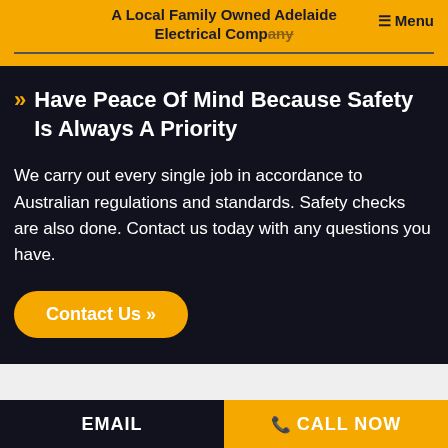A Local Family Owned Adelaide Electrical Company  ☰ Menu
» Have Peace Of Mind Because Safety Is Always A Priority
We carry out every single job in accordance to Australian regulations and standards. Safety checks are also done. Contact us today with any questions you have.
Contact Us »
EMAIL   📞 CALL NOW